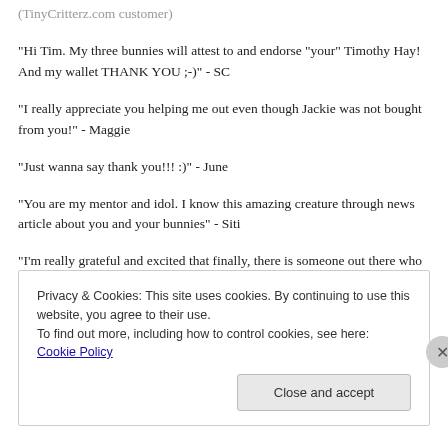(TinyCritterz.com customer)
"Hi Tim. My three bunnies will attest to and endorse "your" Timothy Hay! And my wallet THANK YOU ;-)" - SC
"I really appreciate you helping me out even though Jackie was not bought from you!" - Maggie
"Just wanna say thank you!!! :)" - June
"You are my mentor and idol. I know this amazing creature through news article about you and your bunnies" - Siti
"I'm really grateful and excited that finally, there is someone out there who truly cares for rabbits. Thanks so much for doing this" - Hani
Privacy & Cookies: This site uses cookies. By continuing to use this website, you agree to their use. To find out more, including how to control cookies, see here: Cookie Policy
Close and accept